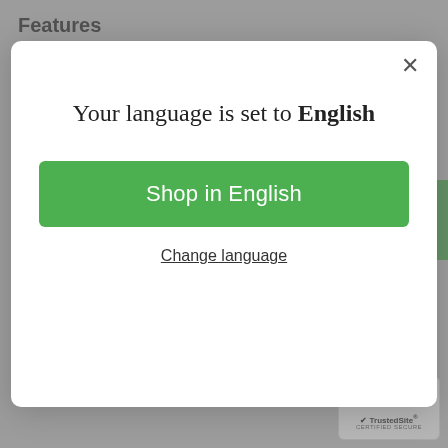Features
A great toy to build balance, endurance and coordination
Trains core muscles and helps exercise f...
[Figure (screenshot): Modal dialog overlay on a product page with language selection. Title reads 'Your language is set to English', a green 'Shop in English' button, and a 'Change language' text link. Close X button in top right corner.]
Product Size(L x W x H): 60 x 23.00 x 2.00 cm / ... x 9.06 x 0.79 inches
Package Contents:1 x Jumping Fitness Ball